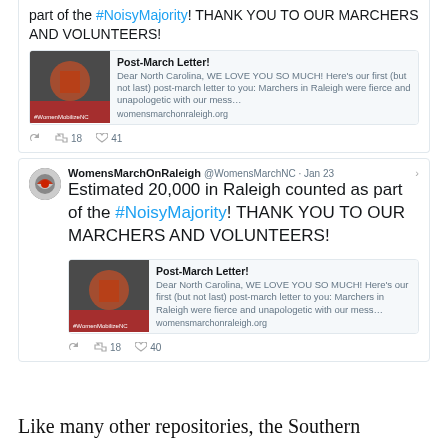[Figure (screenshot): Partial tweet (top cropped) from WomensMarchOnRaleigh: 'part of the #NoisyMajority! THANK YOU TO OUR MARCHERS AND VOLUNTEERS!' with a linked card for 'Post-March Letter!' from womensmarchonraleigh.org, and engagement counts: 18 retweets, 41 likes.]
[Figure (screenshot): Full tweet from WomensMarchOnRaleigh @WomensMarchNC · Jan 23: 'Estimated 20,000 in Raleigh counted as part of the #NoisyMajority! THANK YOU TO OUR MARCHERS AND VOLUNTEERS!' with linked card for 'Post-March Letter!' from womensmarchonraleigh.org, and engagement counts: 18 retweets, 40 likes.]
Like many other repositories, the Southern